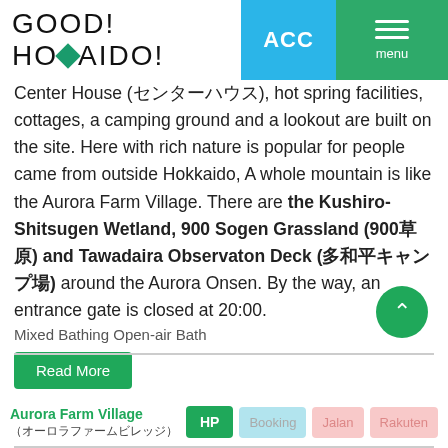GOOD! HOMAIDO!
Center House (センターハウス), hot spring facilities, cottages, a camping ground and a lookout are built on the site. Here with rich nature is popular for people came from outside Hokkaido, A whole mountain is like the Aurora Farm Village. There are the Kushiro-Shitsugen Wetland, 900 Sogen Grassland (900草原) and Tawadaira Observaton Deck (多和平キャンプ場) around the Aurora Onsen. By the way, an entrance gate is closed at 20:00.
Read More
Mixed Bathing Open-air Bath
Aurora Farm Village (オーロラファームビレッジ)